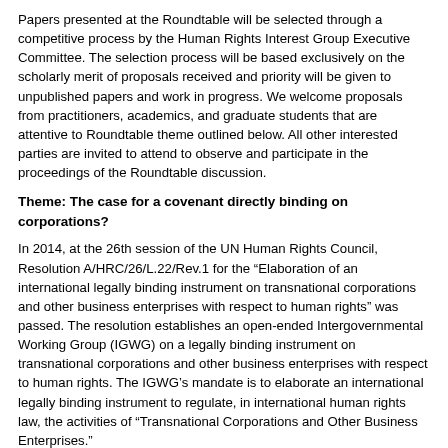Papers presented at the Roundtable will be selected through a competitive process by the Human Rights Interest Group Executive Committee. The selection process will be based exclusively on the scholarly merit of proposals received and priority will be given to unpublished papers and work in progress. We welcome proposals from practitioners, academics, and graduate students that are attentive to Roundtable theme outlined below. All other interested parties are invited to attend to observe and participate in the proceedings of the Roundtable discussion.
Theme: The case for a covenant directly binding on corporations?
In 2014, at the 26th session of the UN Human Rights Council, Resolution A/HRC/26/L.22/Rev.1 for the “Elaboration of an international legally binding instrument on transnational corporations and other business enterprises with respect to human rights” was passed. The resolution establishes an open-ended Intergovernmental Working Group (IGWG) on a legally binding instrument on transnational corporations and other business enterprises with respect to human rights. The IGWG’s mandate is to elaborate an international legally binding instrument to regulate, in international human rights law, the activities of “Transnational Corporations and Other Business Enterprises.”
The resolution follows from a statement made the previous year at the 24th Session of the Human Rights Council on behalf of the African Group, the Arab Group, Pakistan, Sri Lanka, Kyrgyzstan, Cuba, Nicaragua, Bolivia, Venezuela, Peru and Ecuador. Therein it